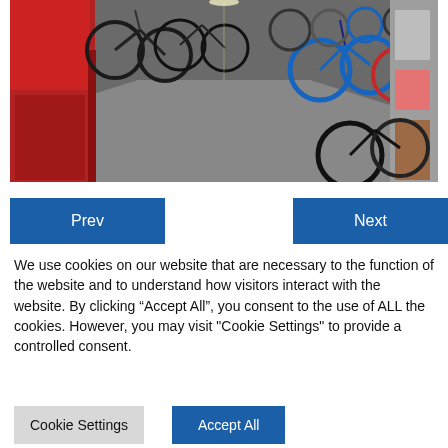[Figure (photo): Interior of a bicycle shop showing rows of bicycles on display along both sides of a store aisle, with red store fixtures on the left and various bikes including blue ones visible on the right.]
Prev
Next
We use cookies on our website that are necessary to the function of the website and to understand how visitors interact with the website. By clicking “Accept All”, you consent to the use of ALL the cookies. However, you may visit "Cookie Settings" to provide a controlled consent.
Cookie Settings
Accept All